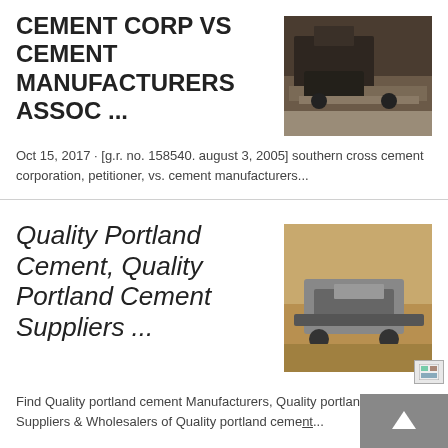CEMENT CORP VS CEMENT MANUFACTURERS ASSOC ...
[Figure (photo): Aerial or close-up view of cement/mining machinery and aggregates on dark ground]
Oct 15, 2017 · [g.r. no. 158540. august 3, 2005] southern cross cement corporation, petitioner, vs. cement manufacturers...
Quality Portland Cement, Quality Portland Cement Suppliers ...
[Figure (photo): Construction or cement machinery on a sandy/earthen terrain, side view of heavy equipment]
Find Quality portland cement Manufacturers, Quality portland cement Suppliers & Wholesalers of Quality portland ceme nt...